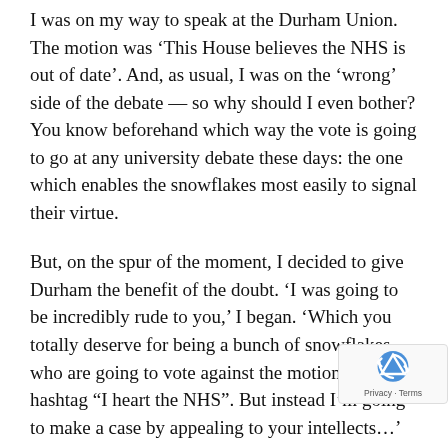I was on my way to speak at the Durham Union. The motion was ‘This House believes the NHS is out of date’. And, as usual, I was on the ‘wrong’ side of the debate — so why should I even bother? You know beforehand which way the vote is going to go at any university debate these days: the one which enables the snowflakes most easily to signal their virtue.
But, on the spur of the moment, I decided to give Durham the benefit of the doubt. ‘I was going to be incredibly rude to you,’ I began. ‘Which you totally deserve for being a bunch of snowflakes who are going to vote against the motion because hashtag “I heart the NHS”. But instead I’m going to make a case by appealing to your intellects…’
I could scarcely believe what happened next. The audience listened. They laughed at my jokes. When I made eye contact, they didn’t look away nervously